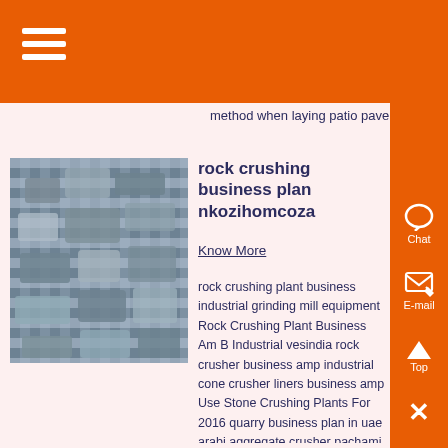[Figure (other): Orange top navigation bar with hamburger menu icon (three white horizontal lines)]
method when laying patio paver...
[Figure (photo): Photo of crushed rock/stone aggregate material]
rock crushing business plan nkozihomcoza
Know More
rock crushing plant business industrial grinding mill equipment Rock Crushing Plant Business Am B Industrial vesindia rock crusher business amp industrial cone crusher liners business amp Use Stone Crushing Plants For 2016 quarry business plan in uae arabi aggregate crusher pachami in ind was a nondescript rock crushing